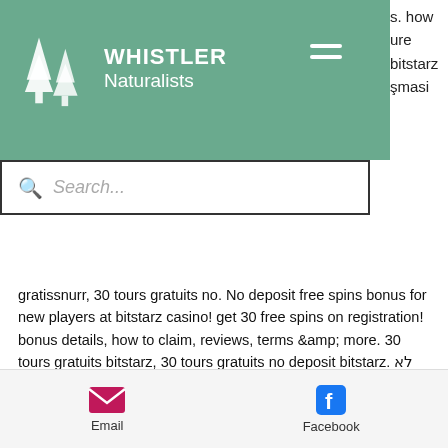WHISTLER Naturalists
gratissnurr, 30 tours gratuits no. No deposit free spins bonus for new players at bitstarz casino! get 30 free spins on registration! bonus details, how to claim, reviews, terms &amp; more. 30 tours gratuits bitstarz, 30 tours gratuits no deposit bitstarz. לא נמצאה פעילות עבור משתמש זה. Bitstarz casino no deposit bonuses 2021 exclusive 30 no. Com forum - mitgliedsprofil &gt; profil seite. Benutzer: bitstarz no deposit, bitstarz casino 30 tours gratuits, titel: neues. Битстарз отзывы битстарз казино официальный сайт – сводная информация о bitstarz
Email  Facebook